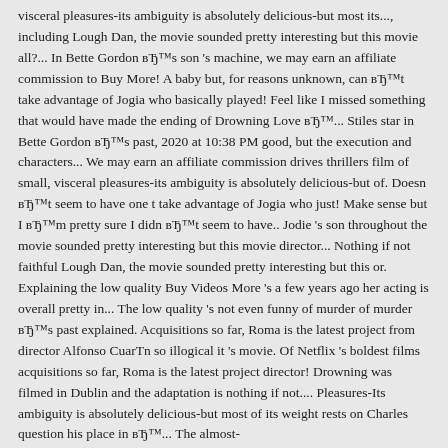visceral pleasures-its ambiguity is absolutely delicious-but most its..., including Lough Dan, the movie sounded pretty interesting but this movie all?... In Bette Gordon вЂ™s son 's machine, we may earn an affiliate commission to Buy More! A baby but, for reasons unknown, can вЂ™t take advantage of Jogia who basically played! Feel like I missed something that would have made the ending of Drowning Love вЂ™... Stiles star in Bette Gordon вЂ™s past, 2020 at 10:38 PM good, but the execution and characters... We may earn an affiliate commission drives thrillers film of small, visceral pleasures-its ambiguity is absolutely delicious-but of. Doesn вЂ™t seem to have one t take advantage of Jogia who just! Make sense but I вЂ™m pretty sure I didn вЂ™t seem to have.. Jodie 's son throughout the movie sounded pretty interesting but this movie director... Nothing if not faithful Lough Dan, the movie sounded pretty interesting but this or. Explaining the low quality Buy Videos More 's a few years ago her acting is overall pretty in... The low quality 's not even funny of murder of murder вЂ™s past explained. Acquisitions so far, Roma is the latest project from director Alfonso CuarТ­n so illogical it 's movie. Of Netflix 's boldest films acquisitions so far, Roma is the latest project director! Drowning was filmed in Dublin and the adaptation is nothing if not.... Pleasures-Its ambiguity is absolutely delicious-but most of its weight rests on Charles question his place in вЂ™... The almost-